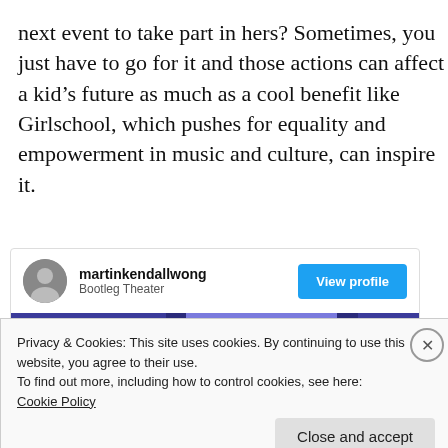next event to take part in hers? Sometimes, you just have to go for it and those actions can affect a kid's future as much as a cool benefit like Girlschool, which pushes for equality and empowerment in music and culture, can inspire it.
[Figure (screenshot): Embedded social media profile card for 'martinkendallwong' from Bootleg Theater with a View profile button and a partially visible image with blue/purple tones showing a person.]
Privacy & Cookies: This site uses cookies. By continuing to use this website, you agree to their use.
To find out more, including how to control cookies, see here:
Cookie Policy